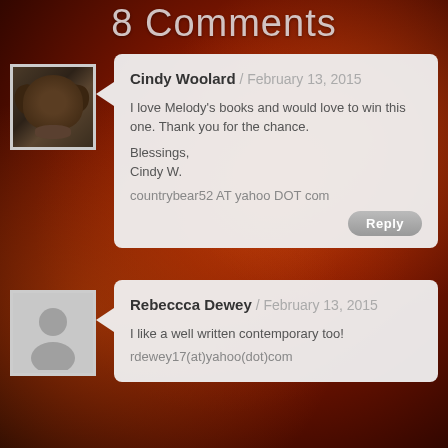8 Comments
Cindy Woolard / February 13, 2015

I love Melody's books and would love to win this one. Thank you for the chance.

Blessings,
Cindy W.

countrybear52 AT yahoo DOT com
Rebeccca Dewey / February 13, 2015

I like a well written contemporary too!

rdewey17(at)yahoo(dot)com